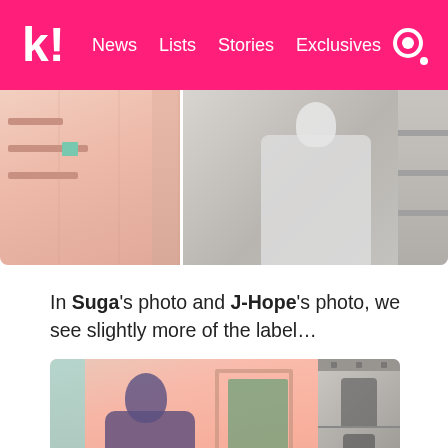k! News Lists Stories Exclusives
[Figure (photo): Two side-by-side photos: left shows a pink room interior with shelving, right shows a person in white outfit in black and white]
In Suga's photo and J-Hope's photo, we see slightly more of the label…
[Figure (photo): Large photo of a person in a pink room with a closet, alongside a vertical strip of black and white portrait photos]